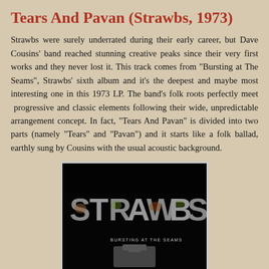Tears And Pavan (Strawbs, 1973)
Strawbs were surely underrated during their early career, but Dave Cousins' band reached stunning creative peaks since their very first works and they never lost it. This track comes from "Bursting at The Seams", Strawbs' sixth album and it's the deepest and maybe most interesting one in this 1973 LP. The band's folk roots perfectly meet  progressive and classic elements following their wide, unpredictable arrangement concept. In fact, "Tears And Pavan" is divided into two parts (namely "Tears" and "Pavan") and it starts like a folk ballad, earthly sung by Cousins with the usual acoustic background.
[Figure (photo): Album cover of Strawbs 'Bursting at The Seams' showing the band name STRAWBS in large 3D metallic letters on a black background with 'BURSTING AT THE SEAMS' text below]